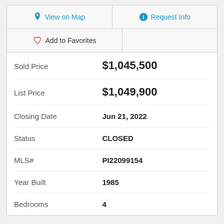View on Map
Request Info
Add to Favorites
| Field | Value |
| --- | --- |
| Sold Price | $1,045,500 |
| List Price | $1,049,900 |
| Closing Date | Jun 21, 2022 |
| Status | CLOSED |
| MLS# | PI22099154 |
| Year Built | 1985 |
| Bedrooms | 4 |